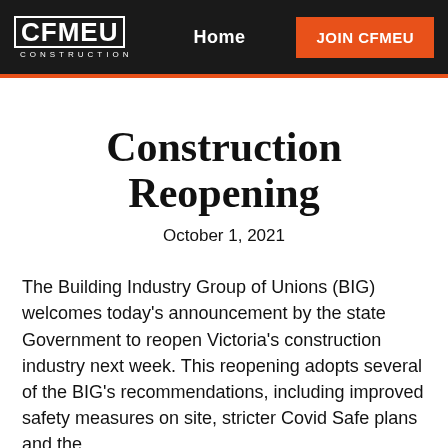CFMEU CONSTRUCTION | Home | JOIN CFMEU
Construction Reopening
October 1, 2021
The Building Industry Group of Unions (BIG) welcomes today's announcement by the state Government to reopen Victoria's construction industry next week. This reopening adopts several of the BIG's recommendations, including improved safety measures on site, stricter Covid Safe plans and the